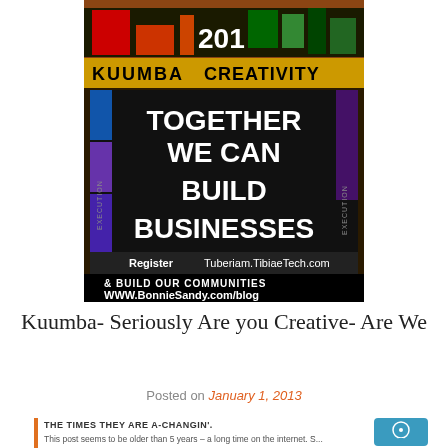[Figure (infographic): Banner image for Kuumba Creativity with colorful bar chart background, text 'TOGETHER WE CAN BUILD BUSINESSES', Register at Tuberiam.TibiaeTech.com, and bottom text '& BUILD OUR COMMUNITIES WWW.BonnieSandy.com/blog']
Kuumba- Seriously Are you Creative- Are We
Posted on January 1, 2013
THE TIMES THEY ARE A-CHANGIN'.
This post seems to be older than 5 years – a long time on the internet. S...